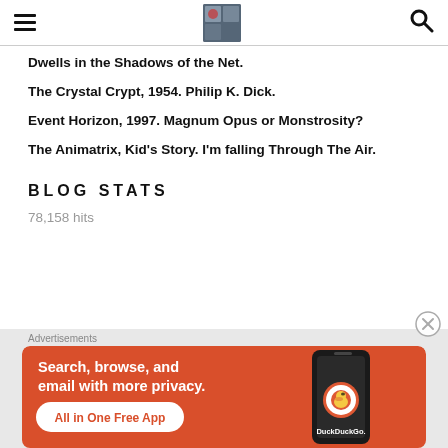[hamburger menu] [blog logo image] [search icon]
Dwells in the Shadows of the Net.
The Crystal Crypt, 1954. Philip K. Dick.
Event Horizon, 1997. Magnum Opus or Monstrosity?
The Animatrix, Kid's Story. I'm falling Through The Air.
BLOG STATS
78,158 hits
Advertisements
[Figure (screenshot): DuckDuckGo advertisement banner with orange background. Text reads 'Search, browse, and email with more privacy. All in One Free App'. Shows a phone with DuckDuckGo logo.]